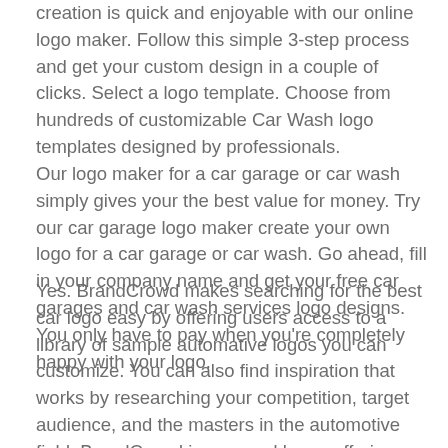creation is quick and enjoyable with our online logo maker. Follow this simple 3-step process and get your custom design in a couple of clicks. Select a logo template. Choose from hundreds of customizable Car Wash logo templates designed by professionals. Our logo maker for a car garage or car wash simply gives your the best value for money. Try our car garage logo maker create your own logo for a car garage or car wash. Go ahead, fill in your company name and get your free car garages and car wash services logo designs. You only have to pay when you're completely happy with your logo.
Yes. BrandCrowd makes searching for the best car logo easy by offering users access to a library of sample automative logos you can customize. You can also find inspiration that works by researching your competition, target audience, and the masters in the automotive field. BrandCrowd is powered by an offering a best of f...